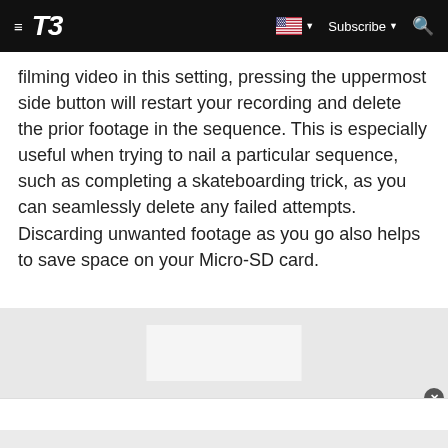T3 | Subscribe
filming video in this setting, pressing the uppermost side button will restart your recording and delete the prior footage in the sequence. This is especially useful when trying to nail a particular sequence, such as completing a skateboarding trick, as you can seamlessly delete any failed attempts. Discarding unwanted footage as you go also helps to save space on your Micro-SD card.
[Figure (other): Advertisement placeholder area with light gray background and centered white inner box, with a close button in the bottom-right corner]